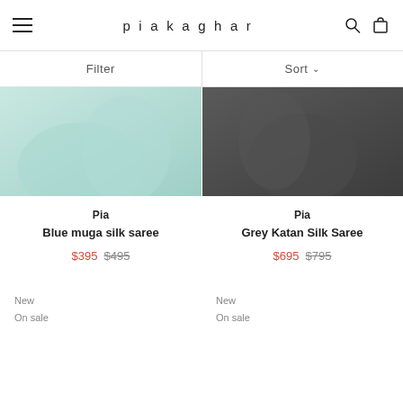piakaghar
Filter
Sort
[Figure (photo): Blue/mint colored silk fabric draped, showing bottom portion of garment on light grey background]
[Figure (photo): Grey Katan Silk Saree on dark grey background, showing embellished drape with jewellery]
Pia
Blue muga silk saree
$395  $495
Pia
Grey Katan Silk Saree
$695  $795
New
On sale
New
On sale